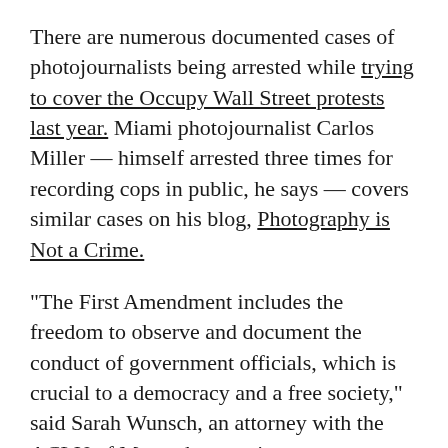There are numerous documented cases of photojournalists being arrested while trying to cover the Occupy Wall Street protests last year. Miami photojournalist Carlos Miller — himself arrested three times for recording cops in public, he says — covers similar cases on his blog, Photography is Not a Crime.
“The First Amendment includes the freedom to observe and document the conduct of government officials, which is crucial to a democracy and a free society,” said Sarah Wunsch, an attorney with the ACLU of Massachusetts, in a statement. “We hope that police departments across the country will draw the right conclusions from this case.”